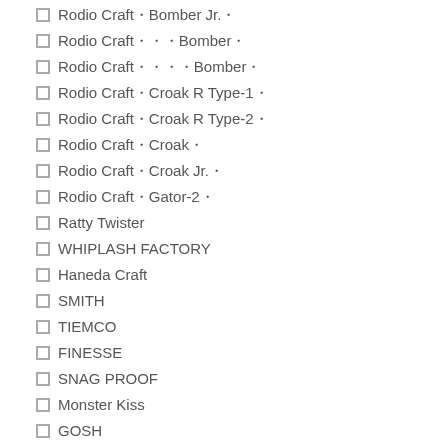Rodio Craft・Bomber Jr.・
Rodio Craft・・・Bomber・
Rodio Craft・・・・Bomber・
Rodio Craft・Croak R Type-1・
Rodio Craft・Croak R Type-2・
Rodio Craft・Croak・
Rodio Craft・Croak Jr.・
Rodio Craft・Gator-2・
Ratty Twister
WHIPLASH FACTORY
Haneda Craft
SMITH
TIEMCO
FINESSE
SNAG PROOF
Monster Kiss
GOSH